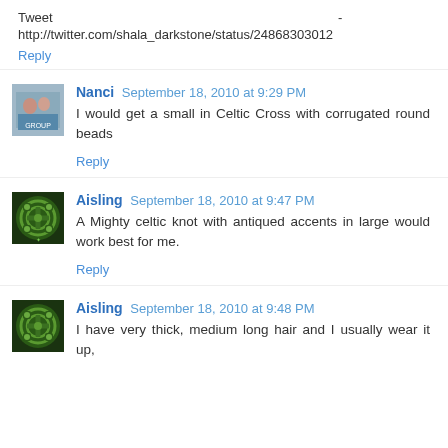Tweet - http://twitter.com/shala_darkstone/status/24868303012
Reply
Nanci September 18, 2010 at 9:29 PM
I would get a small in Celtic Cross with corrugated round beads
Reply
Aisling September 18, 2010 at 9:47 PM
A Mighty celtic knot with antiqued accents in large would work best for me.
Reply
Aisling September 18, 2010 at 9:48 PM
I have very thick, medium long hair and I usually wear it up,